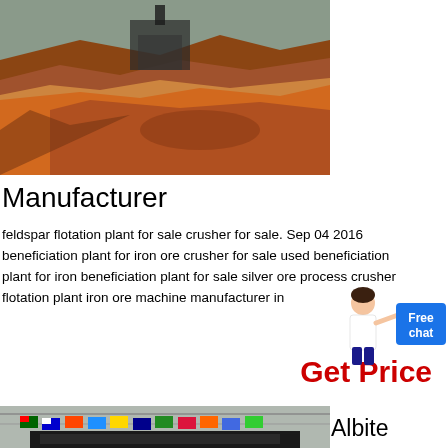[Figure (photo): Aerial view of a mining or construction site with red/orange earth and industrial structures]
Manufacturer
feldspar flotation plant for sale crusher for sale. Sep 04 2016 beneficiation plant for iron ore crusher for sale used beneficiation plant for iron beneficiation plant for sale silver ore process crusher flotation plant iron ore machine manufacturer in
[Figure (illustration): Person figure pointing with Free chat button overlay]
Get Price
[Figure (photo): Industrial mobile crusher machine inside a large hall decorated with international flags]
Albite Mobile Crusher Price